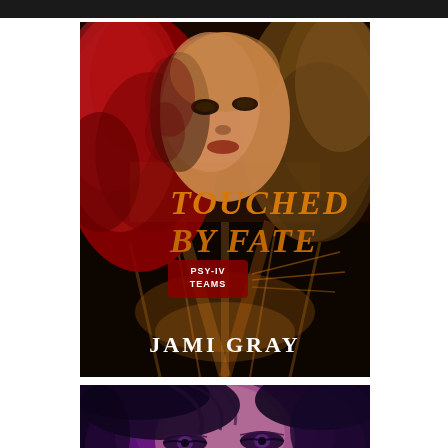[Figure (illustration): Book cover for 'Touched by Fate' by Jami Gray. Shows a woman with dramatic red and golden curly hair, face partially lit. Title 'TOUCHED BY FATE' in orange/gold letters in the middle. 'PSY-IV TEAMS' badge on the lower left. 'JAMI GRAY' author name at the bottom in white. Dark road with motion blur in the lower half.]
[Figure (illustration): Partial book cover showing a woman's face with purple/pink tones, dark hair, visible eyes with a mysterious expression. Dark smoky background.]